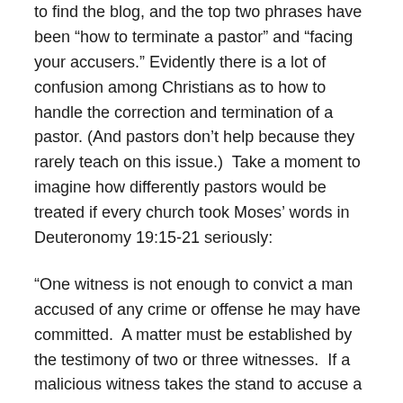to find the blog, and the top two phrases have been “how to terminate a pastor” and “facing your accusers.” Evidently there is a lot of confusion among Christians as to how to handle the correction and termination of a pastor. (And pastors don’t help because they rarely teach on this issue.)  Take a moment to imagine how differently pastors would be treated if every church took Moses’ words in Deuteronomy 19:15-21 seriously:
“One witness is not enough to convict a man accused of any crime or offense he may have committed.  A matter must be established by the testimony of two or three witnesses.  If a malicious witness takes the stand to accuse a man of a crime, the two men involved in the dispute must stand in the presence of the Lord before the priests and the judges who are in office at the time.  The